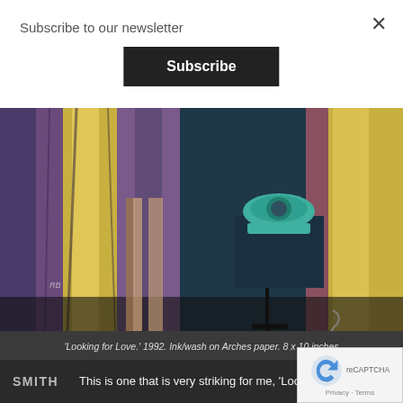Subscribe to our newsletter
Subscribe
×
[Figure (illustration): Artwork titled 'Looking for Love.' 1992. Ink/wash on Arches paper. 8 x 10 inches. Shows curtains in purple, blue, yellow tones with a teal rotary telephone on a stand.]
'Looking for Love.' 1992. Ink/wash on Arches paper. 8 x 10 inches
SMITH
This is one that is very striking for me, 'Looking for